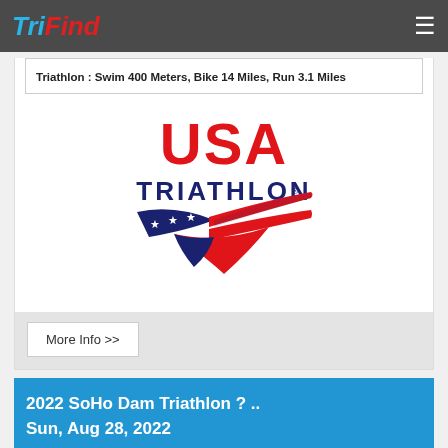TriFind
Triathlon : Swim 400 Meters, Bike 14 Miles, Run 3.1 Miles
[Figure (logo): USA Triathlon logo — red USA text above blue TRIATHLON text, with a patriotic swoosh design below featuring stars and red/blue streaks]
More Info >>
2022 SoHo Dam Triathlon ? ..
Sun, Aug 28, 2022